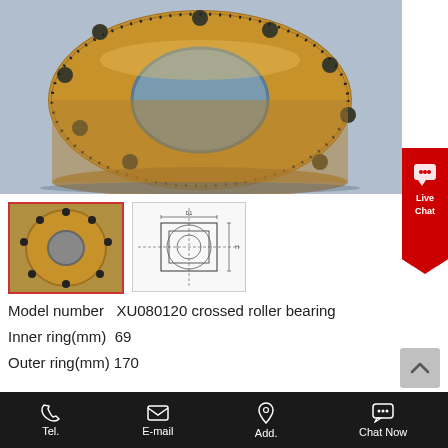[Figure (photo): Close-up photo of a gold/bronze colored XU080120 crossed roller bearing ring with mounting holes, on a blue background]
[Figure (photo): Thumbnail photo of the crossed roller bearing viewed from above]
[Figure (engineering-diagram): Technical drawing/schematic of the XU080120 crossed roller bearing with dimensions]
Model number  XU080120 crossed roller bearing
Inner ring(mm)  69
Outer ring(mm)  170
Tel.   E-mail   Add.   Chat Now